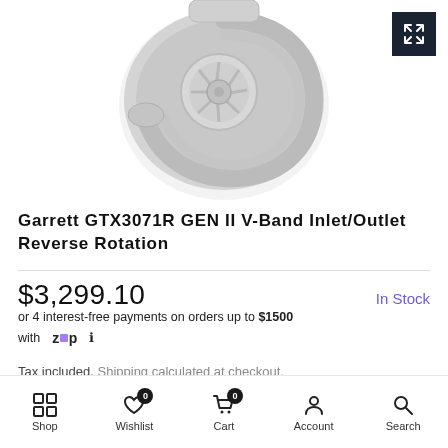[Figure (photo): Photo of a Garrett GTX3071R GEN II turbocharger, silver/gray metallic, shown from above, with a dark expand/zoom icon button in the top-right corner]
Garrett GTX3071R GEN II V-Band Inlet/Outlet Reverse Rotation
$3,299.10   In Stock
or 4 interest-free payments on orders up to $1500 with Zip ℹ
Tax included. Shipping calculated at checkout.
Shop  Wishlist 0  Cart 0  Account  Search